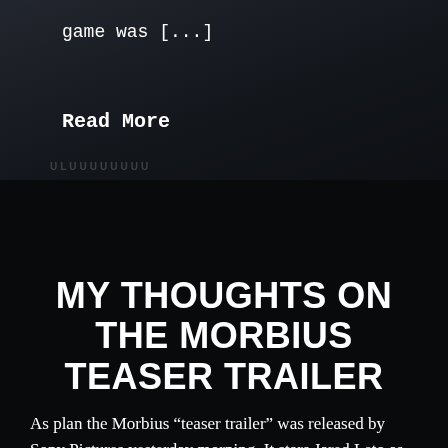game was [...]
Read More
MY THOUGHTS ON THE MORBIUS TEASER TRAILER
As plan the Morbius “teaser trailer” was released by Sony Pictures yesterday morning. It stars Jared Leto as Michael Morbius who is best known from the Dallas Buyers Club, and his infamous portrayal of